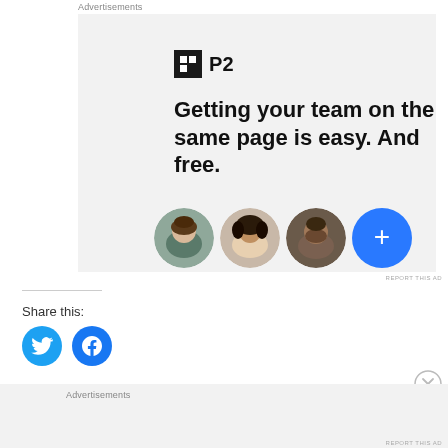Advertisements
[Figure (illustration): P2 advertisement banner with logo, headline 'Getting your team on the same page is easy. And free.', and three person avatar circles plus a blue plus-sign circle]
REPORT THIS AD
Share this:
[Figure (illustration): Twitter and Facebook share button circles]
Advertisements
REPORT THIS AD